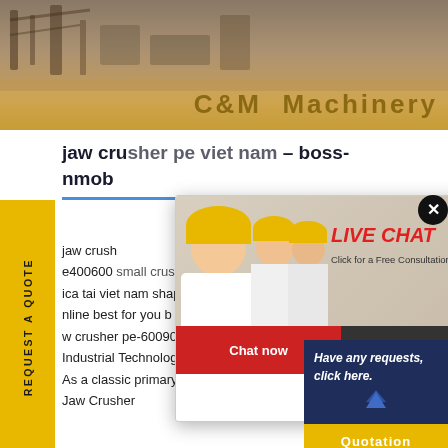[Figure (photo): Construction site banner image with heavy machinery and text 'C&M Machinery']
jaw crusher pe viet nam – boss-inmob
jaw crusher pe400600 small crusher pe600100 p... ica tai viet nam shape oko cnc mill ... nline best for you b w pe600 900 cr... w crusher pe-600900mobile. PE Ja... Industrial Technology Group. 2021-5... As a classic primary crusher with sta... E Jaw Crusher
[Figure (screenshot): Live Chat popup overlay with workers in hard hats, 'LIVE CHAT' text in red, 'Click for a Free Consultation' subtitle, and Chat now / Chat later buttons]
[Figure (photo): Female customer service agent with headset photo on right side]
REQUEST A QUOTE
Have any requests, click here.
Quotation